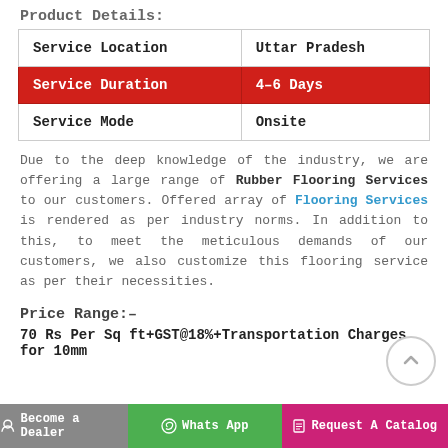Product Details:
|  |  |
| --- | --- |
| Service Location | Uttar Pradesh |
| Service Duration | 4–6 Days |
| Service Mode | Onsite |
Due to the deep knowledge of the industry, we are offering a large range of Rubber Flooring Services to our customers. Offered array of Flooring Services is rendered as per industry norms. In addition to this, to meet the meticulous demands of our customers, we also customize this flooring service as per their necessities.
Price Range:–
70 Rs Per Sq ft+GST@18%+Transportation Charges for 10mm
Become a Dealer   Whats App   Request A Catalog